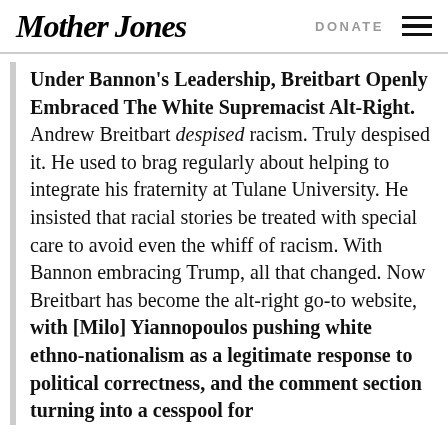Mother Jones | DONATE
Under Bannon's Leadership, Breitbart Openly Embraced The White Supremacist Alt-Right. Andrew Breitbart despised racism. Truly despised it. He used to brag regularly about helping to integrate his fraternity at Tulane University. He insisted that racial stories be treated with special care to avoid even the whiff of racism. With Bannon embracing Trump, all that changed. Now Breitbart has become the alt-right go-to website, with [Milo] Yiannopoulos pushing white ethno-nationalism as a legitimate response to political correctness, and the comment section turning into a cesspool for